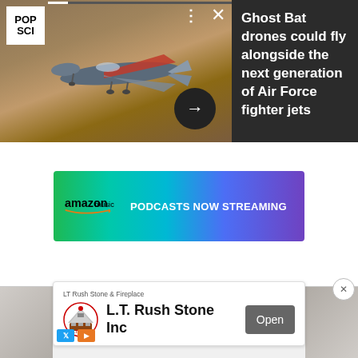[Figure (screenshot): Top banner showing a drone (Ghost Bat) flying over arid landscape, with POP SCI logo top-left, three-dot and X controls, and a dark right panel with article title. Arrow button overlaid on image.]
Ghost Bat drones could fly alongside the next generation of Air Force fighter jets
[Figure (screenshot): Amazon Music advertisement banner with green-to-purple gradient, amazon music logo and text 'PODCASTS NOW STREAMING']
[Figure (screenshot): L.T. Rush Stone Inc popup advertisement with company logo, name, and Open button, plus close X button and ad attribution icons (X and play button)]